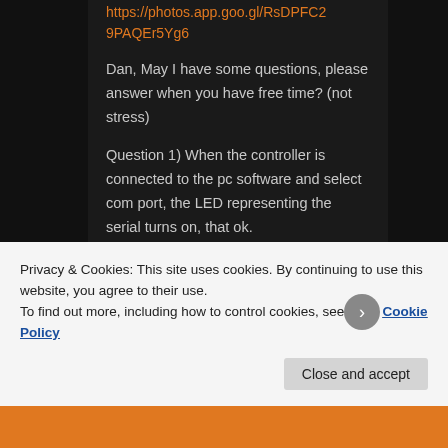https://photos.app.goo.gl/RsDPFC29PAQEr5Yg6
Dan, May I have some questions, please answer when you have free time? (not stress)
Question 1) When the controller is connected to the pc software and select com port, the LED representing the serial turns on, that ok.
Then, when I check the output voltage of Z-X, Z+X, Z-Y, Z+Y they are all 10V. Does it mean the
Privacy & Cookies: This site uses cookies. By continuing to use this website, you agree to their use.
To find out more, including how to control cookies, see here: Cookie Policy
Close and accept